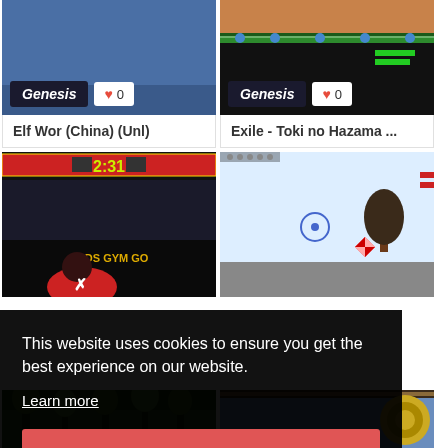[Figure (screenshot): Elf Wor (China) (Unl) Genesis game card with blue background and Genesis badge showing 0 hearts]
Elf Wor (China) (Unl)
[Figure (screenshot): Exile - Toki no Hazama game card showing game screenshot with Genesis badge]
Exile - Toki no Hazama ...
[Figure (screenshot): Boxing game screenshot showing timer 2:31 and Gold's Gym branding with fighter]
[Figure (screenshot): Top-down RPG game screenshot with snow and trees]
This website uses cookies to ensure you get the best experience on our website.
Learn more
Got it!
[Figure (screenshot): Partial bottom game card with green forest background]
[Figure (screenshot): Partial bottom game card with blue/mechanical background]